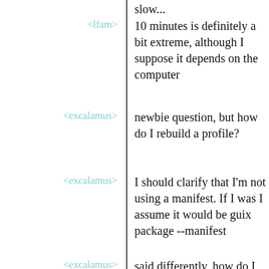slow...
<lfam>
10 minutes is definitely a bit extreme, although I suppose it depends on the computer
<excalamus>
newbie question, but how do I rebuild a profile?
<excalamus>
I should clarify that I'm not using a manifest. If I was I assume it would be guix package --manifest
<excalamus>
said differently, how do I rebuild the default profile? Just do a gc